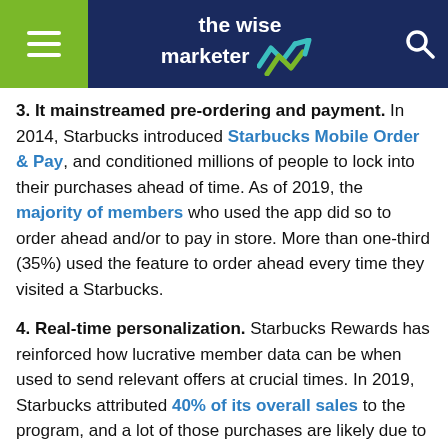the wise marketer
3. It mainstreamed pre-ordering and payment. In 2014, Starbucks introduced Starbucks Mobile Order & Pay, and conditioned millions of people to lock into their purchases ahead of time. As of 2019, the majority of members who used the app did so to order ahead and/or to pay in store. More than one-third (35%) used the feature to order ahead every time they visited a Starbucks.
4. Real-time personalization. Starbucks Rewards has reinforced how lucrative member data can be when used to send relevant offers at crucial times. In 2019, Starbucks attributed 40% of its overall sales to the program, and a lot of those purchases are likely due to promotions.